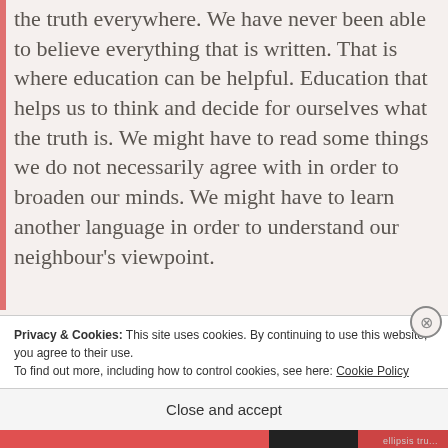the truth everywhere. We have never been able to believe everything that is written. That is where education can be helpful. Education that helps us to think and decide for ourselves what the truth is. We might have to read some things we do not necessarily agree with in order to broaden our minds. We might have to learn another language in order to understand our neighbour's viewpoint.
Ignorance is never something to be proud of but
Privacy & Cookies: This site uses cookies. By continuing to use this website, you agree to their use.
To find out more, including how to control cookies, see here: Cookie Policy
Close and accept